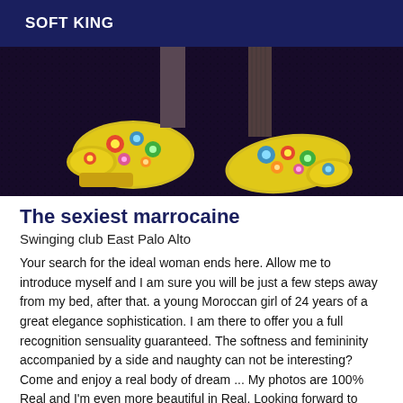SOFT KING
[Figure (photo): Photo of two feet wearing colorful floral-patterned shoes/flats on a dark furry background, viewed from above.]
The sexiest marrocaine
Swinging club East Palo Alto
Your search for the ideal woman ends here. Allow me to introduce myself and I am sure you will be just a few steps away from my bed, after that. a young Moroccan girl of 24 years of a great elegance sophistication. I am there to offer you a full recognition sensuality guaranteed. The softness and femininity accompanied by a side and naughty can not be interesting? Come and enjoy a real body of dream ... My photos are 100% Real and I'm even more beautiful in Real. Looking forward to